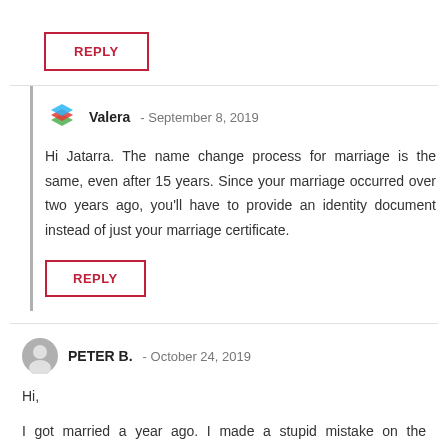REPLY
Valera - September 8, 2019
Hi Jatarra. The name change process for marriage is the same, even after 15 years. Since your marriage occurred over two years ago, you'll have to provide an identity document instead of just your marriage certificate.
REPLY
PETER B. - October 24, 2019
Hi,
I got married a year ago. I made a stupid mistake on the application and